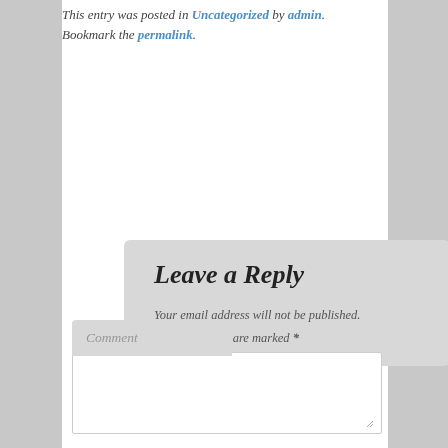This entry was posted in Uncategorized by admin. Bookmark the permalink.
Leave a Reply
Your email address will not be published. Required fields are marked *
Comment